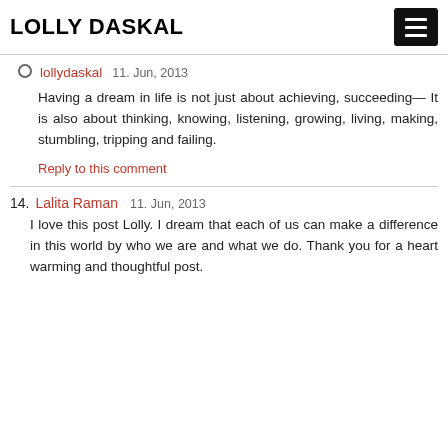LOLLY DASKAL
lollydaskal  11. Jun, 2013
Having a dream in life is not just about achieving, succeeding— It is also about thinking, knowing, listening, growing, living, making, stumbling, tripping and failing.
Reply to this comment
14. Lalita Raman  11. Jun, 2013
I love this post Lolly. I dream that each of us can make a difference in this world by who we are and what we do. Thank you for a heart warming and thoughtful post.